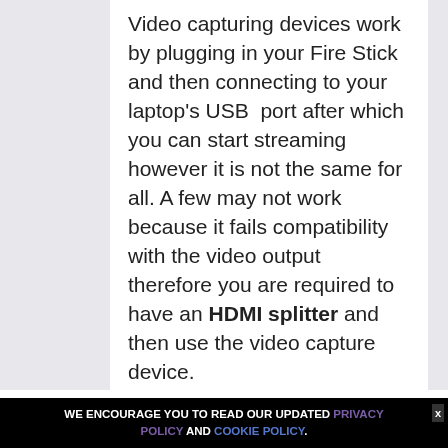Video capturing devices work by plugging in your Fire Stick and then connecting to your laptop's USB  port after which you can start streaming however it is not the same for all. A few may not work because it fails compatibility with the video output therefore you are required to have an HDMI splitter and then use the video capture device.
We must note that Video
WE ENCOURAGE YOU TO READ OUR UPDATED PRIVACY POLICY AND COOKIE POLICY.